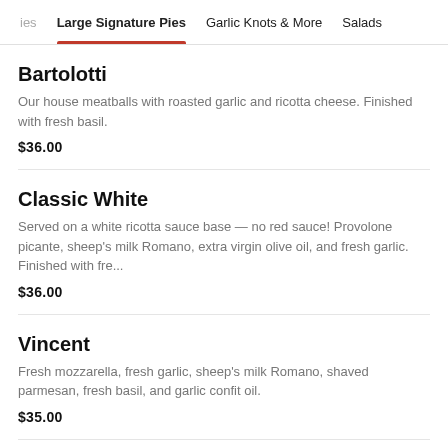ies | Large Signature Pies | Garlic Knots & More | Salads
Bartolotti
Our house meatballs with roasted garlic and ricotta cheese. Finished with fresh basil.
$36.00
Classic White
Served on a white ricotta sauce base — no red sauce! Provolone picante, sheep's milk Romano, extra virgin olive oil, and fresh garlic. Finished with fre...
$36.00
Vincent
Fresh mozzarella, fresh garlic, sheep's milk Romano, shaved parmesan, fresh basil, and garlic confit oil.
$35.00